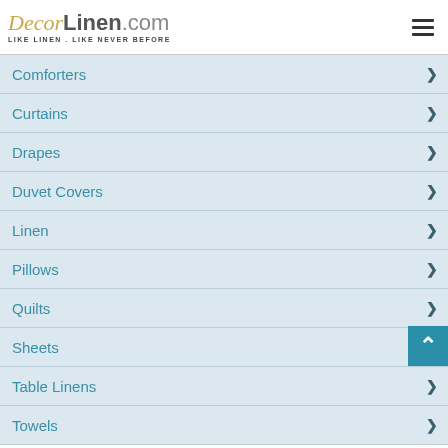DecorLinen.com - LIKE LINEN. LIKE NEVER BEFORE
Comforters
Curtains
Drapes
Duvet Covers
Linen
Pillows
Quilts
Sheets
Table Linens
Towels